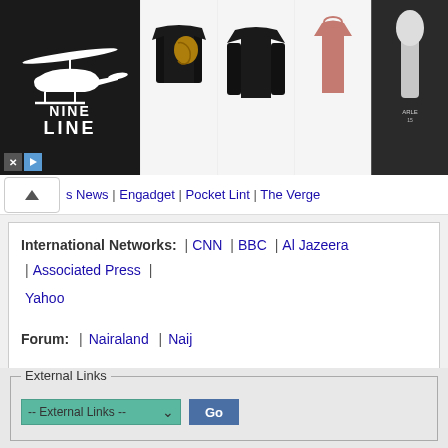[Figure (screenshot): Nine Line apparel advertisement banner with helicopter logo on black background and clothing product images]
s News | Engadget | Pocket Lint | The Verge
International Networks:  |  CNN  |  BBC  |  Al Jazeera  |  Associated Press  |  Yahoo
Forum:  |  Nairaland  |  Naij
Other Links:  Home  |  Nigerian Jobs  |  Desktop Version
External Links
-- External Links --  Go